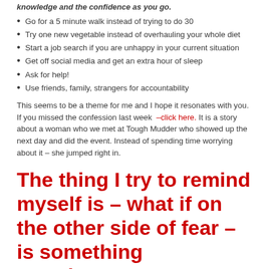knowledge and the confidence as you go.
Go for a 5 minute walk instead of trying to do 30
Try one new vegetable instead of overhauling your whole diet
Start a job search if you are unhappy in your current situation
Get off social media and get an extra hour of sleep
Ask for help!
Use friends, family, strangers for accountability
This seems to be a theme for me and I hope it resonates with you. If you missed the confession last week –click here. It is a story about a woman who we met at Tough Mudder who showed up the next day and did the event. Instead of spending time worrying about it – she jumped right in.
The thing I try to remind myself is – what if on the other side of fear – is something amazing????